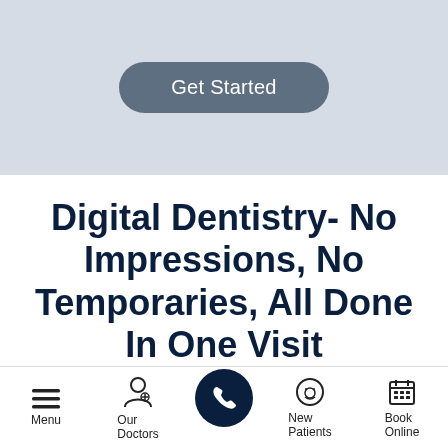[Figure (other): Get Started button on light blue-grey banner background]
Digital Dentistry- No Impressions, No Temporaries, All Done In One Visit
The Newest 3D Technology That Can Do Porcelain Crowns, Inlays, Onlays, And Veneers In
[Figure (other): Mobile bottom navigation bar with Menu, Our Doctors, phone call button, New Patients, and Book Online icons]